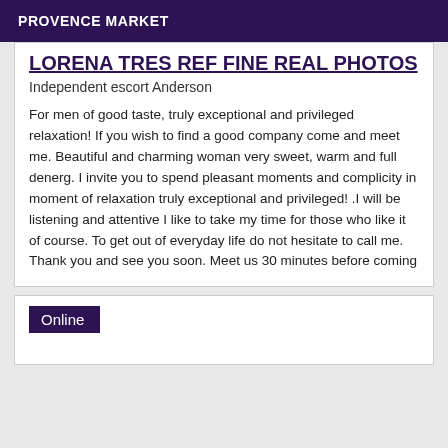PROVENCE MARKET
LORENA TRES REF FINE REAL PHOTOS
Independent escort Anderson
For men of good taste, truly exceptional and privileged relaxation! If you wish to find a good company come and meet me. Beautiful and charming woman very sweet, warm and full denerg. I invite you to spend pleasant moments and complicity in moment of relaxation truly exceptional and privileged! .I will be listening and attentive I like to take my time for those who like it of course. To get out of everyday life do not hesitate to call me. Thank you and see you soon. Meet us 30 minutes before coming
Online